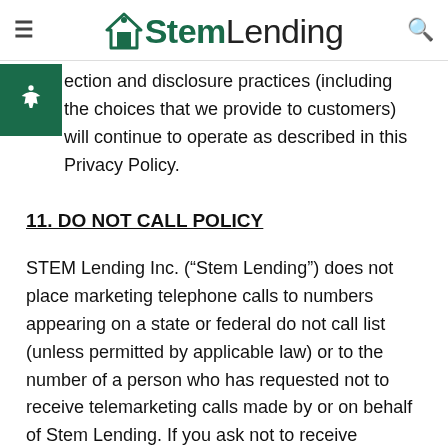iStemLending
ection and disclosure practices (including the choices that we provide to customers) will continue to operate as described in this Privacy Policy.
11. DO NOT CALL POLICY
STEM Lending Inc. (“Stem Lending”) does not place marketing telephone calls to numbers appearing on a state or federal do not call list (unless permitted by applicable law) or to the number of a person who has requested not to receive telemarketing calls made by or on behalf of Stem Lending. If you ask not to receive